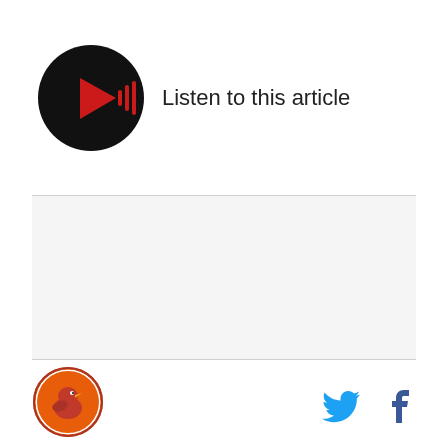[Figure (other): Audio player button: black circle with red play triangle and red sound wave bars, with text 'Listen to this article' to the right]
[Figure (other): Large blank/white-gray content area placeholder between two horizontal divider lines]
[Figure (logo): Sports team logo: circular badge with orange/red color scheme featuring a bird mascot]
[Figure (other): Twitter bird icon in blue and Facebook 'f' icon in blue, in the footer right side]